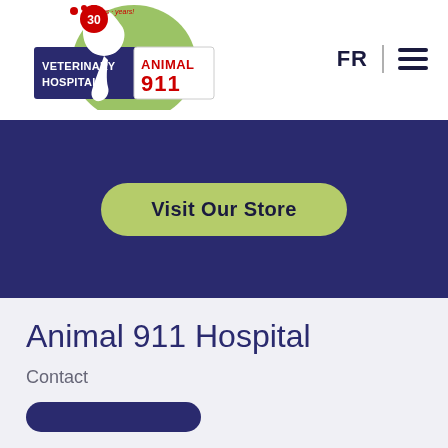[Figure (logo): Animal 911 Veterinary Hospital logo — 30 ans/years anniversary badge with paw prints, white cat silhouette on green circle, navy blue rectangle with 'VETERINARY HOSPITAL' text, red 'ANIMAL 911' text in white box]
FR
[Figure (other): Hamburger menu icon — three horizontal dark navy lines]
[Figure (other): Dark navy blue banner section with a pill-shaped light green button labeled 'Visit Our Store']
Animal 911 Hospital
Contact